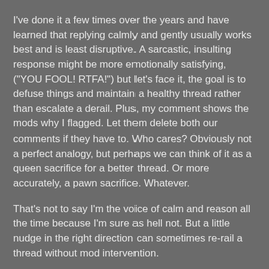I've done it a few times over the years and have learned that replying calmly and gently usually works best and is least disruptive. A sarcastic, insulting response might be more emotionally satisfying, ("YOU FOOL! RTFA!") but let's face it, the goal is to defuse things and maintain a healthy thread rather than escalate a derail. Plus, my comment shows the mods why I flagged. Let them delete both our comments if they have to. Who cares? Obviously not a perfect analogy, but perhaps we can think of it as a queen sacrifice for a better thread. Or more accurately, a pawn sacrifice. Whatever.
That's not to say I'm the voice of calm and reason all the time because I'm sure as hell not. But a little nudge in the right direction can sometimes re-rail a thread without mod intervention.
posted by zarq at 3:51 PM on July 14, 2014 [10 favorites]